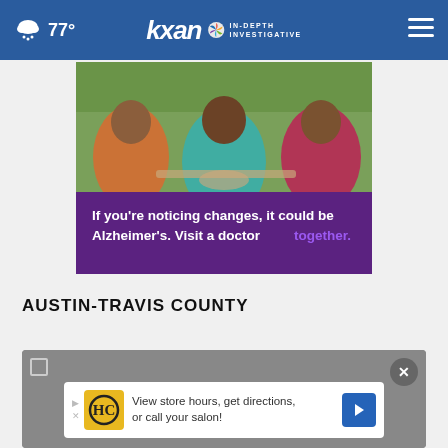77° | KXAN IN-DEPTH INVESTIGATIVE
[Figure (photo): Advertisement image showing three women sitting outdoors. Bottom portion has purple background with text: 'If you're noticing changes, it could be Alzheimer's. Visit a doctor together.']
AUSTIN-TRAVIS COUNTY
[Figure (screenshot): Grey video/content overlay with a close (X) button in top-right corner. Bottom shows a white advertisement strip with HC logo, text 'View store hours, get directions, or call your salon!' and a blue navigation arrow icon.]